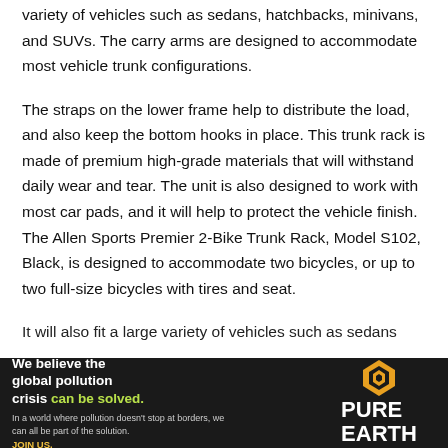variety of vehicles such as sedans, hatchbacks, minivans, and SUVs. The carry arms are designed to accommodate most vehicle trunk configurations.
The straps on the lower frame help to distribute the load, and also keep the bottom hooks in place. This trunk rack is made of premium high-grade materials that will withstand daily wear and tear. The unit is also designed to work with most car pads, and it will help to protect the vehicle finish. The Allen Sports Premier 2-Bike Trunk Rack, Model S102, Black, is designed to accommodate two bicycles, or up to two full-size bicycles with tires and seat.
It will also fit a large variety of vehicles such as sedans
[Figure (infographic): Advertisement banner for Pure Earth. Dark background with text: 'We believe the global pollution crisis can be solved.' in white and green. Subtext: 'In a world where pollution doesn't stop at borders, we can all be part of the solution.' with 'JOIN US.' in yellow. Pure Earth logo on the right with diamond chevron icon.]